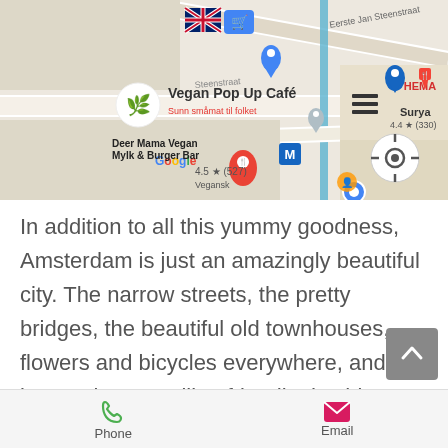[Figure (screenshot): Google Maps screenshot showing vegan restaurants in Amsterdam including Vegan Pop Up Cafe and Deer Mama Vegan Mylk & Burger Bar with ratings and map markers]
In addition to all this yummy goodness, Amsterdam is just an amazingly beautiful city. The narrow streets, the pretty bridges, the beautiful old townhouses, flowers and bicycles everywhere, and last but not least, smiling friendly dutchies on every corner. It is so easy to fall completely in love with
Phone   Email